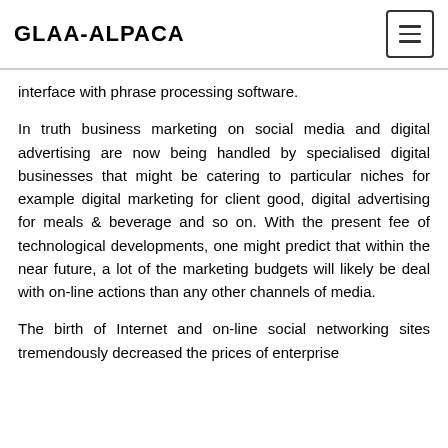GLAA-ALPACA
interface with phrase processing software.
In truth business marketing on social media and digital advertising are now being handled by specialised digital businesses that might be catering to particular niches for example digital marketing for client good, digital advertising for meals & beverage and so on. With the present fee of technological developments, one might predict that within the near future, a lot of the marketing budgets will likely be deal with on-line actions than any other channels of media.
The birth of Internet and on-line social networking sites tremendously decreased the prices of enterprise